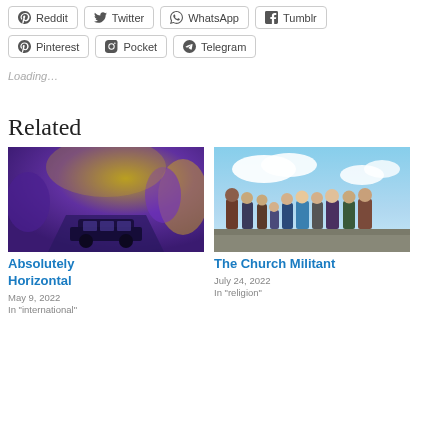Reddit
Twitter
WhatsApp
Tumblr
Pinterest
Pocket
Telegram
Loading…
Related
[Figure (photo): Purple-tinted infrared photo of a vehicle on a road]
Absolutely Horizontal
May 9, 2022
In "international"
[Figure (photo): Group of people standing outdoors under cloudy sky]
The Church Militant
July 24, 2022
In "religion"